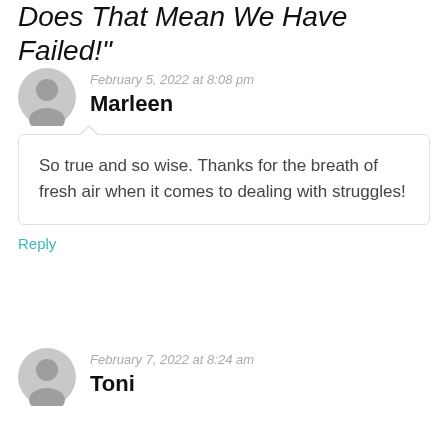Does That Mean We Have Failed!"
February 5, 2022 at 8:08 pm
Marleen
So true and so wise. Thanks for the breath of fresh air when it comes to dealing with struggles!
Reply
February 7, 2022 at 8:24 am
Toni